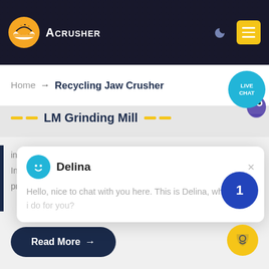[Figure (logo): Acrusher logo with orange hard hat icon and white text on dark background header]
Home → Recycling Jaw Crusher
LM Grinding Mill
independent intellectual property rights. Product Features: Integration of multiple functions, more stable and reliable, production and more excellent capacity
[Figure (other): Read More button with right arrow, dark navy rounded rectangle]
[Figure (other): Live chat popup with agent Delina: Hello, nice to chat with you here. This is Delina, what can I do for you?]
[Figure (other): Blue notification circle with number 1]
[Figure (other): Yellow notification circle with chat icon]